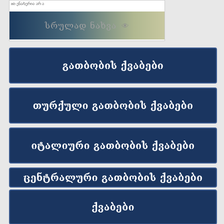[Figure (screenshot): Top partial box with gradient button showing Georgian text 'სრულად ნახვა' with eye icon]
გათბობის ქვაბები
თურქული გათბობის ქვაბები
იტალიური გათბობის ქვაბები
ცენტრალური გათბობის ქვაბები
ქვაბები